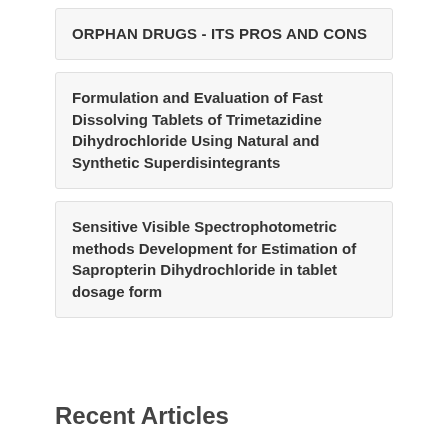ORPHAN DRUGS - ITS PROS AND CONS
Formulation and Evaluation of Fast Dissolving Tablets of Trimetazidine Dihydrochloride Using Natural and Synthetic Superdisintegrants
Sensitive Visible Spectrophotometric methods Development for Estimation of Sapropterin Dihydrochloride in tablet dosage form
Recent Articles